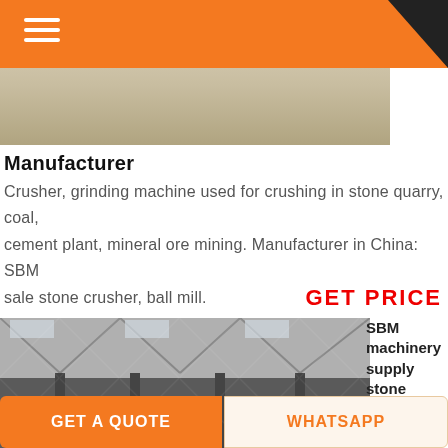≡ (hamburger menu)
[Figure (photo): Partial view of machinery/equipment image strip at top of page]
Manufacturer
Crusher, grinding machine used for crushing in stone quarry, coal, cement plant, mineral ore mining. Manufacturer in China: SBM sale stone crusher, ball mill.
GET PRICE
[Figure (photo): Interior of an industrial factory/warehouse showing rows of stone crushers (dark grey cone/gyratory crushers) on the factory floor with steel roof trusses visible above]
SBM machinery supply stone crusher, crusher parts, ..
SBM stone crusher
GET A QUOTE   WHATSAPP